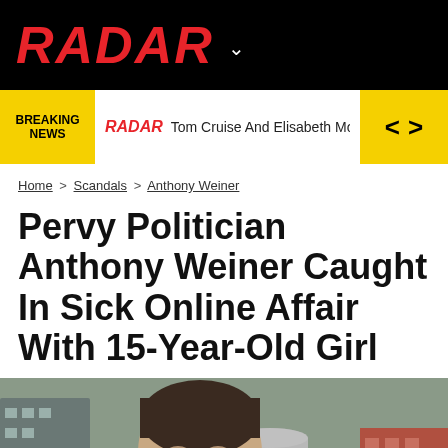RADAR
BREAKING NEWS | RADAR Tom Cruise And Elisabeth Moss Dragged Into Sciento...
Home > Scandals > Anthony Weiner
Pervy Politician Anthony Weiner Caught In Sick Online Affair With 15-Year-Old Girl
[Figure (photo): Close-up photo of Anthony Weiner outdoors, with buildings visible in the background]